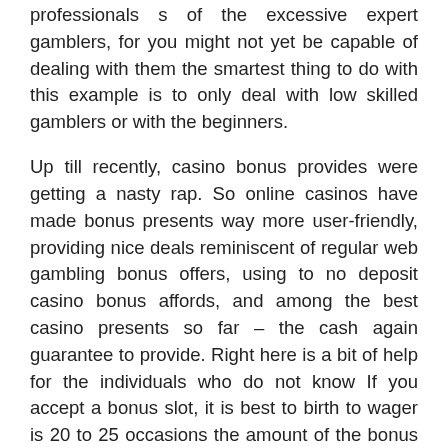professionals s of the excessive expert gamblers, for you might not yet be capable of dealing with them the smartest thing to do with this example is to only deal with low skilled gamblers or with the beginners.
Up till recently, casino bonus provides were getting a nasty rap. So online casinos have made bonus presents way more user-friendly, providing nice deals reminiscent of regular web gambling bonus offers, using to no deposit casino bonus affords, and among the best casino presents so far – the cash again guarantee to provide. Right here is a bit of help for the individuals who do not know If you accept a bonus slot, it is best to birth to wager is 20 to 25 occasions the amount of the bonus money and deposit combined. Some nice online casino bonuses provide leave solely apply to a sure sport for example, the deal could show a large bonus on supply, but it may apply to a gamer enjoying a considerable amount of poker palms, and of course, this